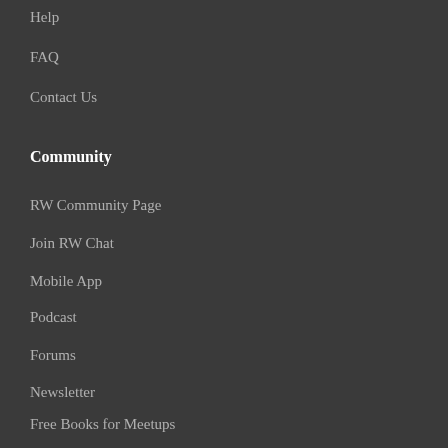Help
FAQ
Contact Us
Community
RW Community Page
Join RW Chat
Mobile App
Podcast
Forums
Newsletter
Free Books for Meetups
All videos. All books. One low price.